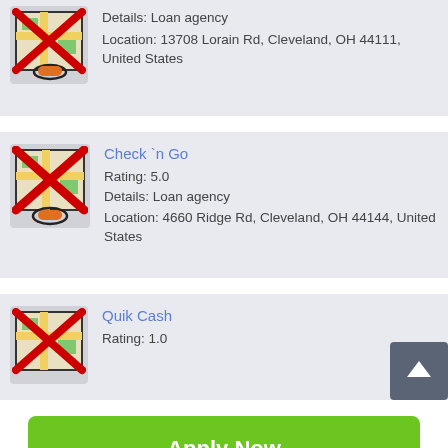[Figure (screenshot): Partial listing card for a loan agency at 13708 Lorain Rd, Cleveland, OH 44111]
Details: Loan agency
Location: 13708 Lorain Rd, Cleveland, OH 44111, United States
Check `n Go
Rating: 5.0
Details: Loan agency
Location: 4660 Ridge Rd, Cleveland, OH 44144, United States
Quik Cash
Rating: 1.0
Apply Now
Applying does NOT affect your credit score!
No credit check to apply.